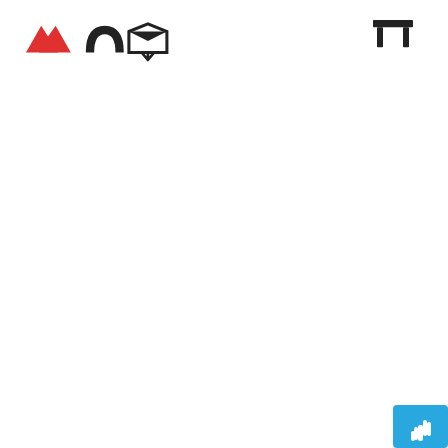[Figure (screenshot): UI toolbar screenshot showing four icons: a red mountain/landscape icon, a black arch/curve icon, a black envelope/tray icon on the left side, and a black table/grid icon on the right side. Bottom right has a blue button with a white hand cursor icon.]